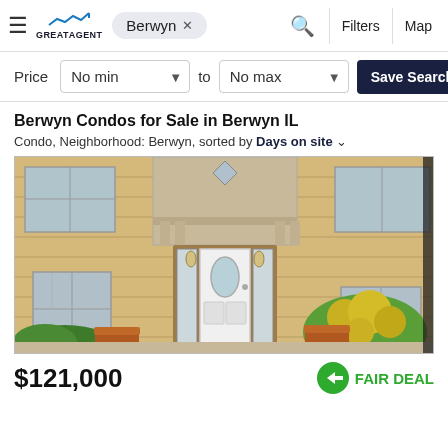GreatAgent — Berwyn × — Search — Filters — Map
Price  No min  to  No max  Save Search
Berwyn Condos for Sale in Berwyn IL
Condo, Neighborhood: Berwyn, sorted by Days on site
[Figure (photo): Exterior photo of a yellow brick building with an ornate stone entrance, white front door with oval glass inset, two terra-cotta planters, flowering shrubs, and landscaping.]
$121,000  FAIR DEAL